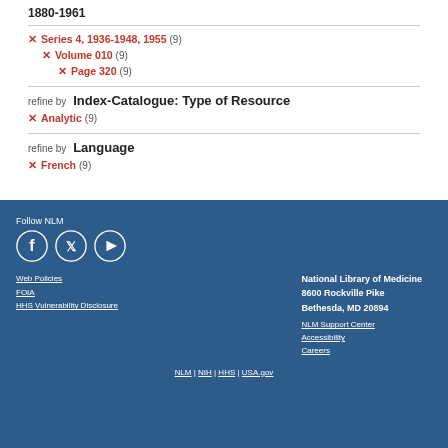1880-1961
Series 4, 1936-1948, 1955 (9)
Volume 010 (9)
Page 320 (9)
refine by Index-Catalogue: Type of Resource
Analytic (9)
refine by Language
French (9)
Follow NLM | National Library of Medicine 8600 Rockville Pike Bethesda, MD 20894 | Web Policies | FOIA | HHS Vulnerability Disclosure | NLM Support Center | Accessibility | Careers | NLM | NIH | HHS | USA.gov